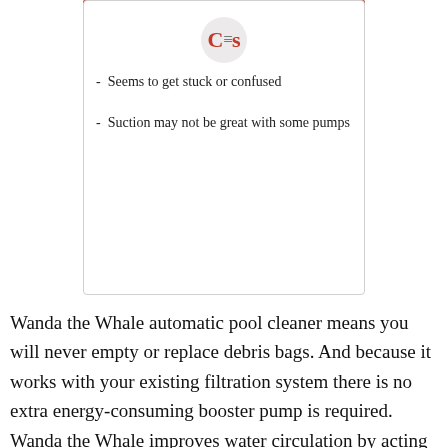[Figure (logo): Cons logo with circular background and horizontal lines icon in center]
- Seems to get stuck or confused
- Suction may not be great with some pumps
Wanda the Whale automatic pool cleaner means you will never empty or replace debris bags. And because it works with your existing filtration system there is no extra energy-consuming booster pump is required. Wanda the Whale improves water circulation by acting as a moving main drain, pulling water from the bottom of your pool as it moves. Your water